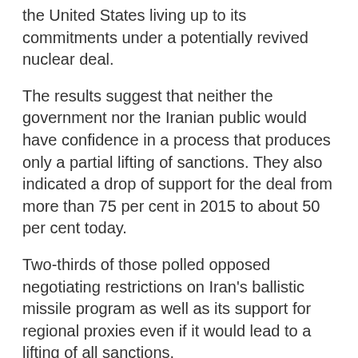the United States living up to its commitments under a potentially revived nuclear deal.
The results suggest that neither the government nor the Iranian public would have confidence in a process that produces only a partial lifting of sanctions. They also indicated a drop of support for the deal from more than 75 per cent in 2015 to about 50 per cent today.
Two-thirds of those polled opposed negotiating restrictions on Iran's ballistic missile program as well as its support for regional proxies even if it would lead to a lifting of all sanctions.
Public opinion makes an Iranian agreement to negotiate non-nuclear issues in the absence of a broader effort to restructure the Middle East's security architecture that would introduce arms